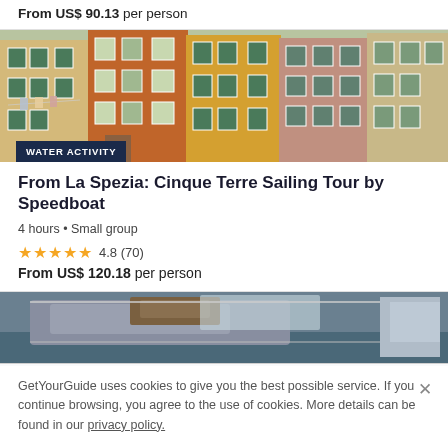From US$ 90.13 per person
[Figure (photo): Colorful Cinque Terre building facades with shuttered windows, laundry hanging outside]
WATER ACTIVITY
From La Spezia: Cinque Terre Sailing Tour by Speedboat
4 hours • Small group
4.8 (70)
From US$ 120.18 per person
[Figure (photo): Close up view of a speedboat deck from dockside]
GetYourGuide uses cookies to give you the best possible service. If you continue browsing, you agree to the use of cookies. More details can be found in our privacy policy.